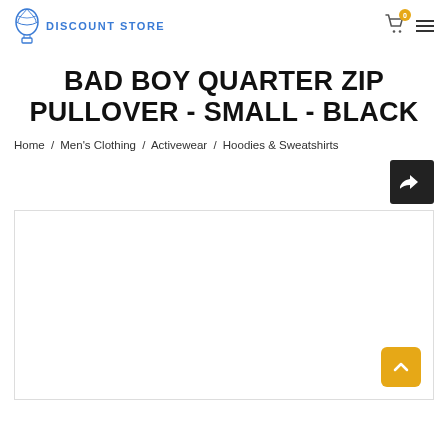DISCOUNT STORE — header with logo, cart (0 items), hamburger menu
BAD BOY QUARTER ZIP PULLOVER - SMALL - BLACK
Home / Men's Clothing / Activewear / Hoodies & Sweatshirts
[Figure (screenshot): Share/forward button (dark background with white arrow icon)]
[Figure (photo): Product photo area — white background image container for Bad Boy Quarter Zip Pullover product photo, with gold scroll-to-top button in bottom-right corner]